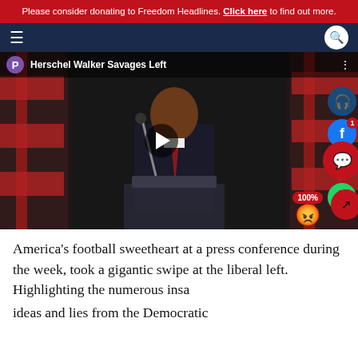Please consider donating to Freedom Headlines. Click here to find out more.
[Figure (screenshot): Navigation bar with hamburger menu on left and search icon on right, dark navy background]
[Figure (screenshot): Video thumbnail showing Herschel Walker speaking at a podium with American flags in background. Video title: 'Herschel Walker Savages Left'. Social share icons on right side (headphones, Facebook with badge '1', Twitter, WhatsApp). Reaction showing 100% angry emoji. Comment and share floating buttons.]
America's football sweetheart at a press conference during the week, took a gigantic swipe at the liberal left. Highlighting the numerous insa... ideas and lies from the Democratic